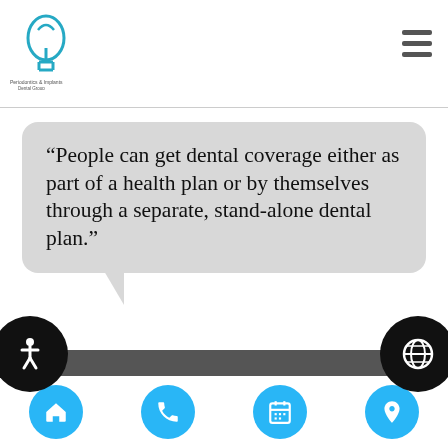[Figure (logo): Dental clinic logo with tooth/implant icon in teal/blue, with clinic name text below]
“People can get dental coverage either as part of a health plan or by themselves through a separate, stand-alone dental plan.”
[Figure (illustration): Bottom navigation bar with four blue circle buttons: home, phone, calendar, and location pin icons]